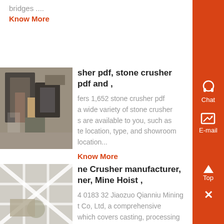bridges ....
Know More
[Figure (photo): Industrial stone crusher machinery, metallic components visible]
sher pdf, stone crusher pdf and ,
fers 1,652 stone crusher pdf a wide variety of stone crusher s are available to you, such as te location, type, and showroom location...
Know More
[Figure (photo): Mine hoist or crusher structure with metal grid pattern]
ne Crusher manufacturer, ner, Mine Hoist ,
4 0183 32 Jiaozuo Qianniu Mining t Co, Ltd, a comprehensive which covers casting, processing